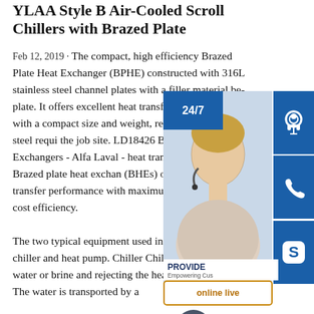YLAA Style B Air-Cooled Scroll Chillers with Brazed Plate
Feb 12, 2019 · The compact, high efficiency Brazed Plate Heat Exchanger (BPHE) constructed with 316L stainless steel channel plates with a filler material be plate. It offers excellent heat transfer performance with a compact size and weight, reducing structural steel requi the job site. LD18426 Brazed Plate He Exchangers - Alfa Laval - heat transfe performance Brazed plate heat exchan (BHEs) offer highest heat transfer performance with maximum reliability and cost efficiency. The two typical equipment used in refrigeration are chiller and heat pump. Chiller Chillers are cooling water or brine and rejecting the heat to air or water. The water is transported by a
[Figure (photo): Customer support widget overlay showing a female agent with headset, 24/7 support buttons, headset icon, phone icon, Skype icon, PROVIDE Empowering Customers text, online live chat button, and a scroll-up arrow button.]